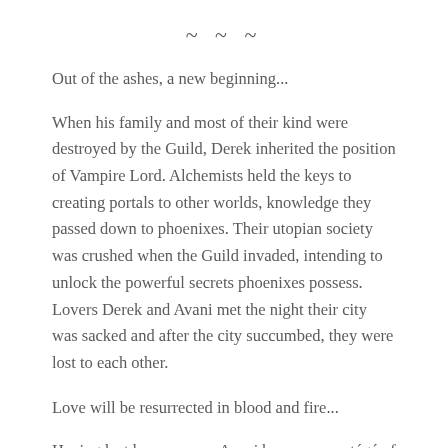~ ~ ~
Out of the ashes, a new beginning...
When his family and most of their kind were destroyed by the Guild, Derek inherited the position of Vampire Lord. Alchemists held the keys to creating portals to other worlds, knowledge they passed down to phoenixes. Their utopian society was crushed when the Guild invaded, intending to unlock the powerful secrets phoenixes possess. Lovers Derek and Avani met the night their city was sacked and after the city succumbed, they were lost to each other.
Love will be resurrected in blood and fire...
Having lost her memory, Avani became a protégé of